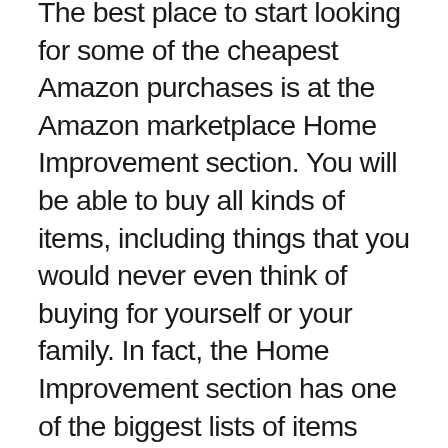The best place to start looking for some of the cheapest Amazon purchases is at the Amazon marketplace Home Improvement section. You will be able to buy all kinds of items, including things that you would never even think of buying for yourself or your family. In fact, the Home Improvement section has one of the biggest lists of items with regular price drops and sales going on at any time. You can grab a few items here that you may be interested in and know they will be cheaper the next time you shop on Amazon.
There are always deals going on at Amazon during certain times of the year. You will want to check and see what kind of deals are available when it's getting close to